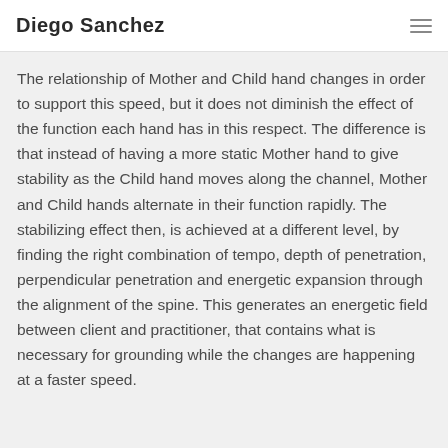Diego Sanchez
The relationship of Mother and Child hand changes in order to support this speed, but it does not diminish the effect of the function each hand has in this respect. The difference is that instead of having a more static Mother hand to give stability as the Child hand moves along the channel, Mother and Child hands alternate in their function rapidly. The stabilizing effect then, is achieved at a different level, by finding the right combination of tempo, depth of penetration, perpendicular penetration and energetic expansion through the alignment of the spine. This generates an energetic field between client and practitioner, that contains what is necessary for grounding while the changes are happening at a faster speed.